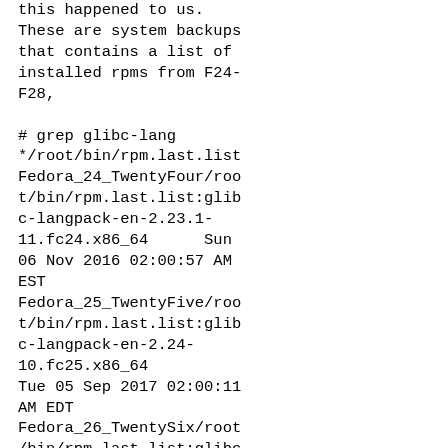this happened to us.
These are system backups
that contains a list of
installed rpms from F24-
F28,
# grep glibc-lang
*/root/bin/rpm.last.list
Fedora_24_TwentyFour/root/bin/rpm.last.list:glibc-langpack-en-2.23.1-11.fc24.x86_64      Sun
06 Nov 2016 02:00:57 AM
EST
Fedora_25_TwentyFive/root/bin/rpm.last.list:glibc-langpack-en-2.24-10.fc25.x86_64
Tue 05 Sep 2017 02:00:11
AM EDT
Fedora_26_TwentySix/root/bin/rpm.last.list:glibc-langpack-en-2.25-12.fc26.x86_64
Fri 27 Oct 2017 02:01:14
AM EDT
Fedora_27_TwentySeven/root/bin/rpm.last.list:glibc-langpack-en-2.26-27.fc27.x86_64